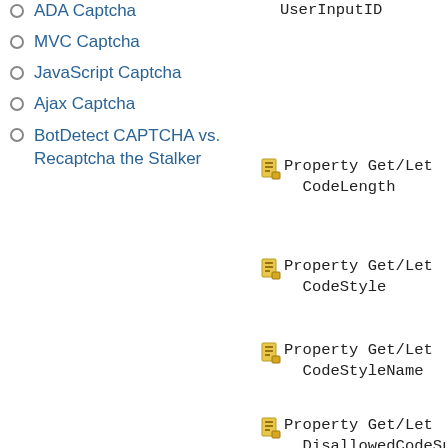ADA Captcha
MVC Captcha
JavaScript Captcha
Ajax Captcha
BotDetect CAPTCHA vs. Recaptcha the Stalker
UserInputID
Property Get/Let CodeLength
Property Get/Let CodeStyle
Property Get/Let CodeStyleName
Property Get/Let DisallowedCodeSubstri